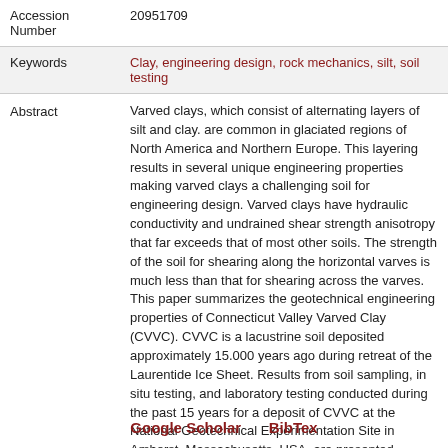| Field | Value |
| --- | --- |
| Accession Number | 20951709 |
| Keywords | Clay, engineering design, rock mechanics, silt, soil testing |
| Abstract | Varved clays, which consist of alternating layers of silt and clay. are common in glaciated regions of North America and Northern Europe. This layering results in several unique engineering properties making varved clays a challenging soil for engineering design. Varved clays have hydraulic conductivity and undrained shear strength anisotropy that far exceeds that of most other soils. The strength of the soil for shearing along the horizontal varves is much less than that for shearing across the varves. This paper summarizes the geotechnical engineering properties of Connecticut Valley Varved Clay (CVVC). CVVC is a lacustrine soil deposited approximately 15.000 years ago during retreat of the Laurentide Ice Sheet. Results from soil sampling, in situ testing, and laboratory testing conducted during the past 15 years for a deposit of CVVC at the National Geotechnical Experimentation Site in Amherst. Massachusetts, USA. are presented. |
Google Scholar    BibTex